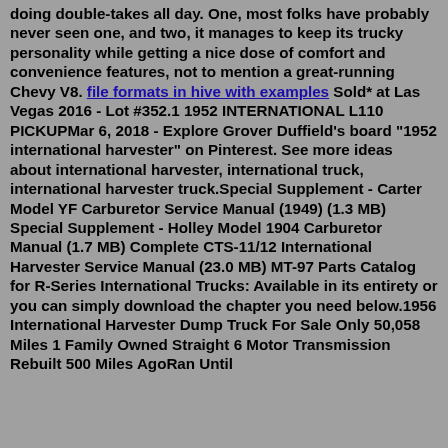doing double-takes all day. One, most folks have probably never seen one, and two, it manages to keep its trucky personality while getting a nice dose of comfort and convenience features, not to mention a great-running Chevy V8. file formats in hive with examples Sold* at Las Vegas 2016 - Lot #352.1 1952 INTERNATIONAL L110 PICKUPMar 6, 2018 - Explore Grover Duffield's board "1952 international harvester" on Pinterest. See more ideas about international harvester, international truck, international harvester truck.Special Supplement - Carter Model YF Carburetor Service Manual (1949) (1.3 MB) Special Supplement - Holley Model 1904 Carburetor Manual (1.7 MB) Complete CTS-11/12 International Harvester Service Manual (23.0 MB) MT-97 Parts Catalog for R-Series International Trucks: Available in its entirety or you can simply download the chapter you need below.1956 International Harvester Dump Truck For Sale Only 50,058 Miles 1 Family Owned Straight 6 Motor Transmission Rebuilt 500 Miles AgoRan Until